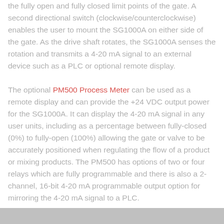the fully open and fully closed limit points of the gate. A second directional switch (clockwise/counterclockwise) enables the user to mount the SG1000A on either side of the gate. As the drive shaft rotates, the SG1000A senses the rotation and transmits a 4-20 mA signal to an external device such as a PLC or optional remote display.
The optional PM500 Process Meter can be used as a remote display and can provide the +24 VDC output power for the SG1000A. It can display the 4-20 mA signal in any user units, including as a percentage between fully-closed (0%) to fully-open (100%) allowing the gate or valve to be accurately positioned when regulating the flow of a product or mixing products. The PM500 has options of two or four relays which are fully programmable and there is also a 2-channel, 16-bit 4-20 mA programmable output option for mirroring the 4-20 mA signal to a PLC.
[Figure (photo): Bottom portion of an image, partially visible at the bottom of the page, showing a gray/dark background with what appears to be a product photograph.]